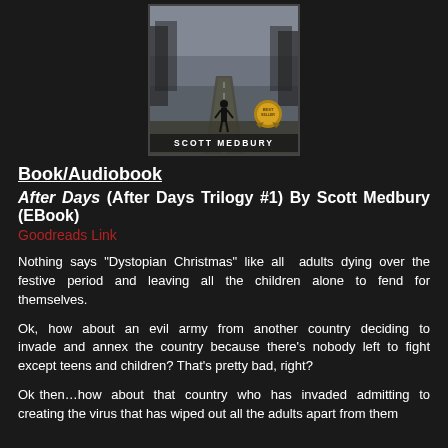[Figure (photo): Book cover for 'After Days' by Scott Medbury showing a figure walking away on a misty road, with a gold badge/seal on the cover and the author name 'SCOTT MEDBURY' at the bottom.]
Book/Audiobook
After Days (After Days Trilogy #1) By Scott Medbury (EBook)
Goodreads Link
Nothing says "Dystopian Christmas" like all adults dying over the festive period and leaving all the children alone to fend for themselves.
Ok, how about an evil army from another country deciding to invade and annex the country because there’s nobody left to fight except teens and children? That’s pretty bad, right?
Ok then…how about that country who has invaded admitting to creating the virus that has wiped out all the adults apart from them